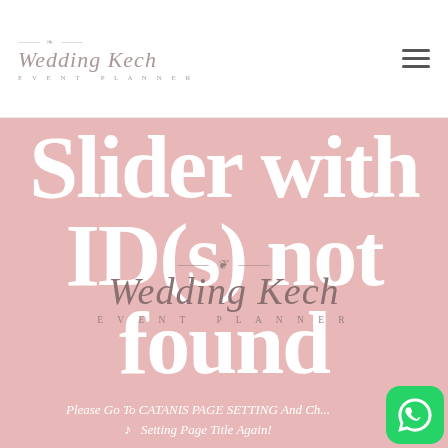Wedding Kech EVENT PLANNER
[Figure (screenshot): Wedding Kech event planner website screenshot showing a 404-style error page with pink background. Large white serif text reads 'Slider with ID(s) not found'. An italic cursive overlay logo 'Wedding Kech EVENT PLANNER' with floral decoration sits in the center. Bottom italic text reads 'Please Go To CATANIS PAGE SETTING And Change Setting Page Title Again!' with a music note icon. A green WhatsApp button is in the bottom right.]
Slider with ID(s) not found
Please Go To CATANIS PAGE SETTING And Change Setting Page Title Again!